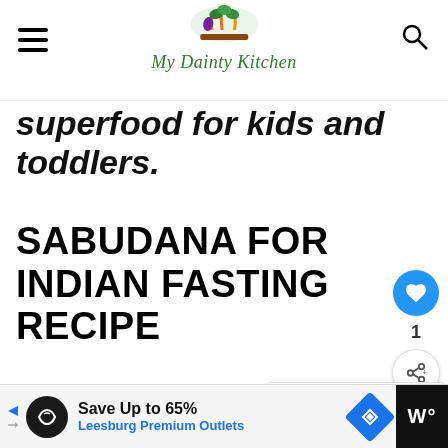My Dainty Kitchen
superfood for kids and toddlers.
SABUDANA FOR INDIAN FASTING RECIPE
India is a place of spiritual significance and hence there are
[Figure (other): Advertisement banner: Save Up to 65% Leesburg Premium Outlets]